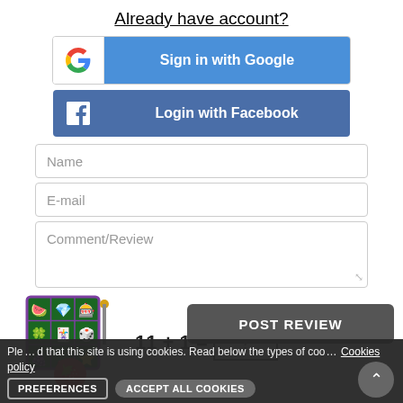Already have account?
[Figure (screenshot): Sign in with Google button with Google G logo on white left side and blue right side with white text]
[Figure (screenshot): Login with Facebook button with Facebook f logo on left and dark blue background with white text]
Name
E-mail
Comment/Review
[Figure (illustration): Slot machine game graphic with colorful icons and cartoon strawberry character]
POST REVIEW
Please note that this site is using cookies. Read below the types of cookies policy
Cookies policy
PREFERENCES
ACCEPT ALL COOKIES